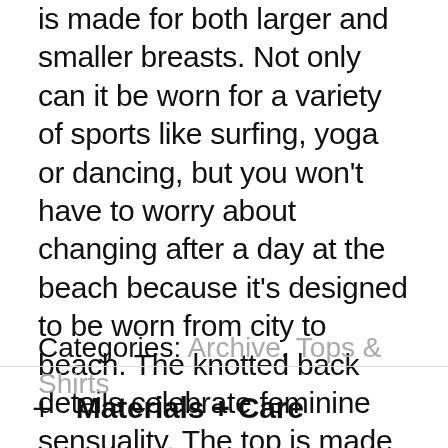is made for both larger and smaller breasts. Not only can it be worn for a variety of sports like surfing, yoga or dancing, but you won't have to worry about changing after a day at the beach because it's designed to be worn from city to beach. The knotted back details celebrate feminine sensuality. The top is made of a super lightweight and soft material with a shiny and silky effect. Find one of our leggings to match.
Categories: Archive, Tops & Shirts
+ Materials + Care